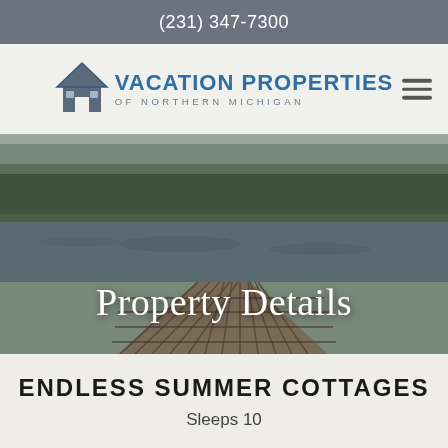(231) 347-7300
[Figure (logo): Vacation Properties of Northern Michigan logo with house icon]
[Figure (photo): Aerial view of a wooden dock extending over a lake with forested background, perspective shot from dock level]
Property Details
ENDLESS SUMMER COTTAGES
Sleeps 10